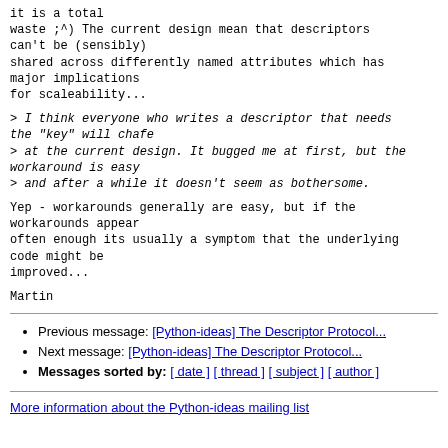it is a total
waste ;^) The current design mean that descriptors
can't be (sensibly)
shared across differently named attributes which has
major implications
for scaleability...
> I think everyone who writes a descriptor that needs the "key" will chafe
> at the current design. It bugged me at first, but the workaround is easy
> and after a while it doesn't seem as bothersome.
Yep - workarounds generally are easy, but if the workarounds appear
often enough its usually a symptom that the underlying code might be
improved...
Martin
Previous message: [Python-ideas] The Descriptor Protocol...
Next message: [Python-ideas] The Descriptor Protocol...
Messages sorted by: [ date ] [ thread ] [ subject ] [ author ]
More information about the Python-ideas mailing list